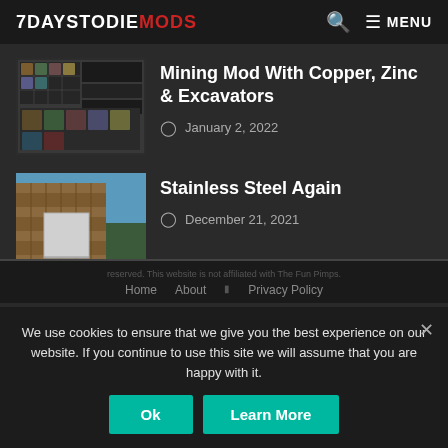7DAYSTODIEMODS — MENU
[Figure (screenshot): Thumbnail screenshot of Mining Mod game interface showing inventory/crafting grid]
Mining Mod With Copper, Zinc & Excavators
January 2, 2022
[Figure (screenshot): Thumbnail screenshot of Stainless Steel building mod showing a white block against wooden wall]
Stainless Steel Again
December 21, 2021
reserved. This website is not affiliated with The Fun Pimps. Home About Privacy Policy
We use cookies to ensure that we give you the best experience on our website. If you continue to use this site we will assume that you are happy with it.